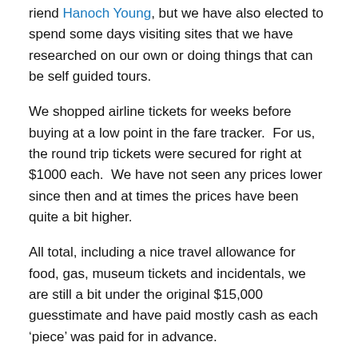riend Hanoch Young, but we have also elected to spend some days visiting sites that we have researched on our own or doing things that can be self guided tours.
We shopped airline tickets for weeks before buying at a low point in the fare tracker.  For us, the round trip tickets were secured for right at $1000 each.  We have not seen any prices lower since then and at times the prices have been quite a bit higher.
All total, including a nice travel allowance for food, gas, museum tickets and incidentals, we are still a bit under the original $15,000 guesstimate and have paid mostly cash as each ‘piece’ was paid for in advance.
I’ll share more on this topic as we enjoy this 21 day adventure.  Pictures and stories to follow.  I do hope this info will help encourage someone to commit to making the